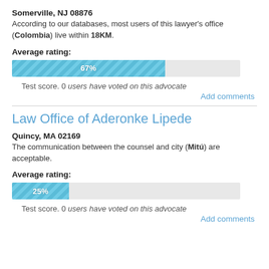Somerville, NJ 08876
According to our databases, most users of this lawyer's office (Colombia) live within 18KM.
Average rating:
[Figure (bar-chart): Average rating]
Test score. 0 users have voted on this advocate
Add comments
Law Office of Aderonke Lipede
Quincy, MA 02169
The communication between the counsel and city (Mitú) are acceptable.
Average rating:
[Figure (bar-chart): Average rating]
Test score. 0 users have voted on this advocate
Add comments